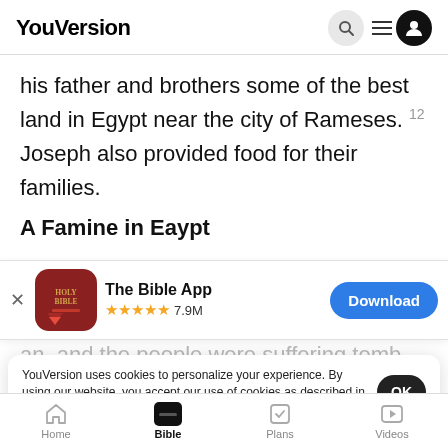YouVersion
his father and brothers some of the best land in Egypt near the city of Rameses. 12 Joseph also provided food for their families.
A Famine in Egypt
[Figure (screenshot): App store banner for The Bible App showing a red Holy Bible icon, 5 stars, 7.9M ratings, and a blue Download button]
an, and the people were suffering temb
14 So J
stored u
YouVersion uses cookies to personalize your experience. By using our website, you accept our use of cookies as described in our Privacy Policy.
Home  Bible  Plans  Videos